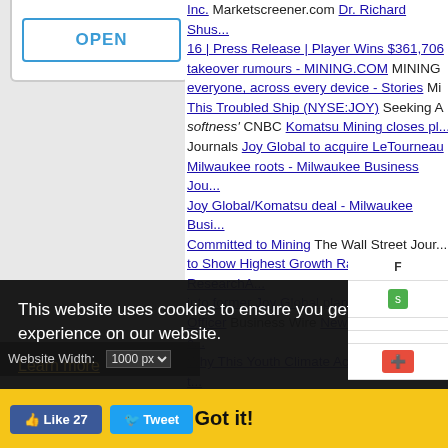[Figure (screenshot): OPEN button in a white card with gray border on a light gray background]
Inc. Marketscreener.com Dr. Richard Shus... 16 | Press Release | Player Wins $361,706 takeover rumours - MINING.COM MINING everyone, across every device - Stories Mi This Troubled Ship (NYSE:JOY) Seeking A softness' CNBC Komatsu Mining closes pl... Journals Joy Global to acquire LeTourneau Milwaukee roots - Milwaukee Business Jou... Joy Global/Komatsu deal - Milwaukee Busi... Committed to Mining The Wall Street Jour... to Show Highest Growth Rate - ResearchA... into former Joy Global plant, creating 125 jo Officer Business Wire New documentary c... Why This Youth Climate Activist Insists on t... Subscription Agreement to Raise HK$600 M... Growth Worldwide PR Newswire US-base... Named CIO at Joy Global The Wall Street J... Business Journal The Business Journals
This website uses cookies to ensure you get the best experience on our website.
Learn more
Got it!
Website Width:  1000 px
Like 27   Tweet